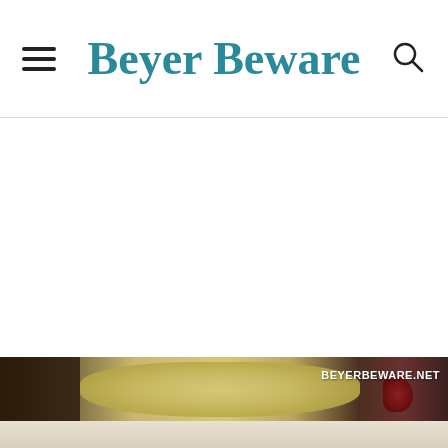Beyer Beware
[Figure (photo): Food photo showing rice or grain dish in a dark skillet with red sauce/tomato element, with watermark text BEYERBEWARE.NET. Below is a lighter colored bottom portion of another food image.]